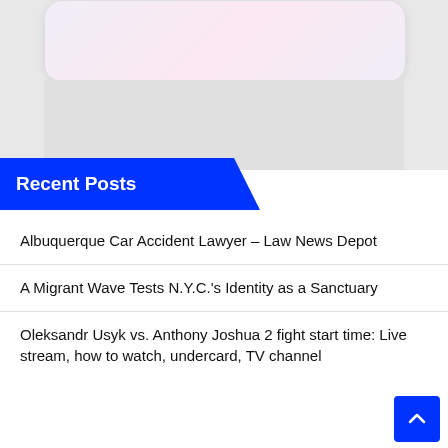[Figure (screenshot): Partial screenshot showing top of a phone/card UI element with a lavender-pink gradient card on a gray background]
Recent Posts
Albuquerque Car Accident Lawyer – Law News Depot
A Migrant Wave Tests N.Y.C.'s Identity as a Sanctuary
Oleksandr Usyk vs. Anthony Joshua 2 fight start time: Live stream, how to watch, undercard, TV channel